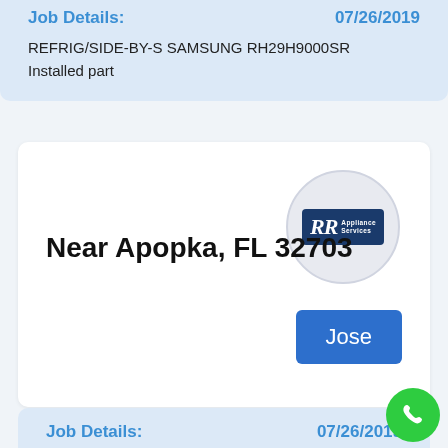Job Details:     07/26/2019
REFRIG/SIDE-BY-S SAMSUNG RH29H9000SR
Installed part
[Figure (other): White card showing location 'Near Apopka, FL 32703' with RR Appliance Services logo in a circle and a blue 'Jose' button]
Job Details:     07/26/2019
DRYER FRIGIDAIRE FFRE1001PWO #5 check all functions tested ok